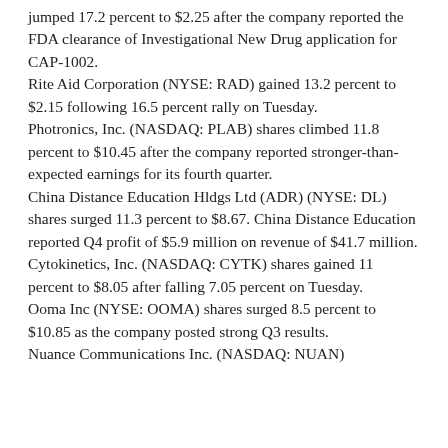jumped 17.2 percent to $2.25 after the company reported the FDA clearance of Investigational New Drug application for CAP-1002. Rite Aid Corporation (NYSE: RAD) gained 13.2 percent to $2.15 following 16.5 percent rally on Tuesday. Photronics, Inc. (NASDAQ: PLAB) shares climbed 11.8 percent to $10.45 after the company reported stronger-than-expected earnings for its fourth quarter. China Distance Education Hldgs Ltd (ADR) (NYSE: DL) shares surged 11.3 percent to $8.67. China Distance Education reported Q4 profit of $5.9 million on revenue of $41.7 million. Cytokinetics, Inc. (NASDAQ: CYTK) shares gained 11 percent to $8.05 after falling 7.05 percent on Tuesday. Ooma Inc (NYSE: OOMA) shares surged 8.5 percent to $10.85 as the company posted strong Q3 results. Nuance Communications Inc. (NASDAQ: NUAN)